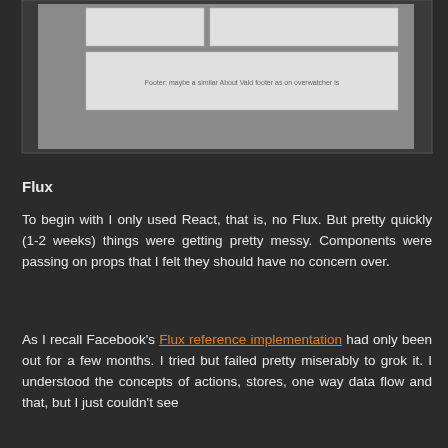[Figure (screenshot): Screenshot of a web UI wireframe showing a footer area with text 'Footer: maybe a similar About Vald footer as on overwatcher is']
Flux
To begin with I only used React, that is, no Flux. But pretty quickly (1-2 weeks) things were getting pretty messy. Components were passing on props that I felt they should have no concern over.
As I recall Facebook's Flux reference implementation had only been out for a few months. I tried but failed pretty miserably to grok it. I understood the concepts of actions, stores, one way data flow and that, but I just couldn't see